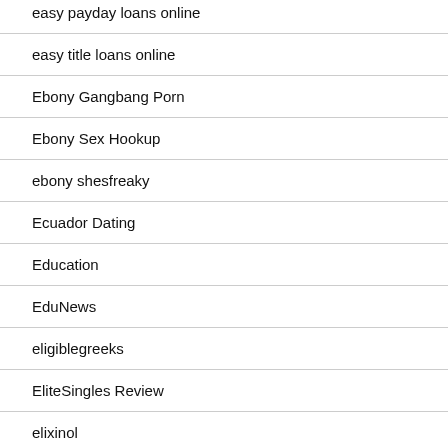easy payday loans online
easy title loans online
Ebony Gangbang Porn
Ebony Sex Hookup
ebony shesfreaky
Ecuador Dating
Education
EduNews
eligiblegreeks
EliteSingles Review
elixinol
Email Order Brides